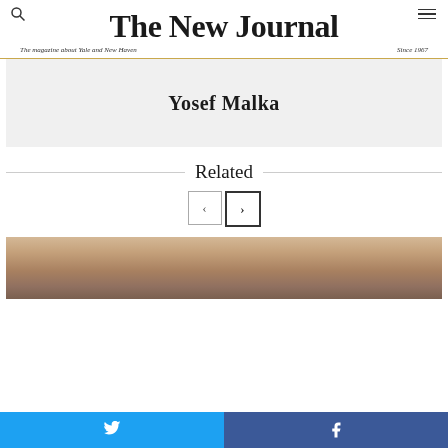The New Journal – The magazine about Yale and New Haven – Since 1967
Yosef Malka
Related
[Figure (photo): Partial view of an article image showing warm brown/copper tones, likely an interior scene]
Twitter share button | Facebook share button